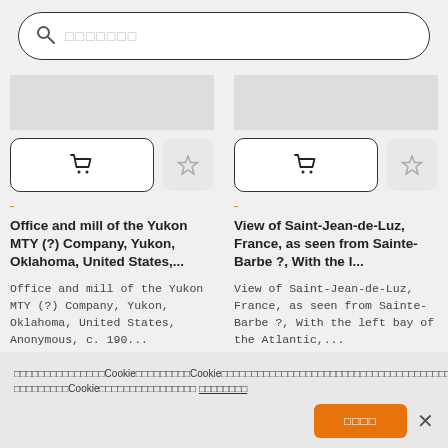[Figure (screenshot): Search bar with magnifying glass icon and placeholder text (Japanese characters)]
[Figure (screenshot): Left product card: cart button, star/favorite button, orange dash, title 'Office and mill of the Yukon MTY (?) Company, Yukon, Oklahoma, United States,...', description text, ID: 2022012205353]
[Figure (screenshot): Right product card: cart button, star/favorite button, orange dash, title 'View of Saint-Jean-de-Luz, France, as seen from Sainte-Barbe ?, With the l...', description text, ID: 2022020412663]
Cookie banner with Japanese text and accept/close buttons